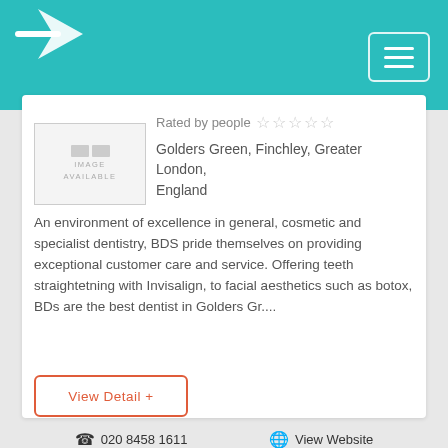[Figure (logo): Teal header bar with partial white logo/arrow visible at top left and hamburger menu button at top right]
[Figure (photo): No image available placeholder box]
Rated by people ☆☆☆☆☆
Golders Green, Finchley, Greater London, England
An environment of excellence in general, cosmetic and specialist dentistry, BDS pride themselves on providing exceptional customer care and service. Offering teeth straightetning with Invisalign, to facial aesthetics such as botox, BDs are the best dentist in Golders Gr....
View Detail +
☎ 020 8458 1611
🌐 View Website
✉ Mail Us
✏ Write Review